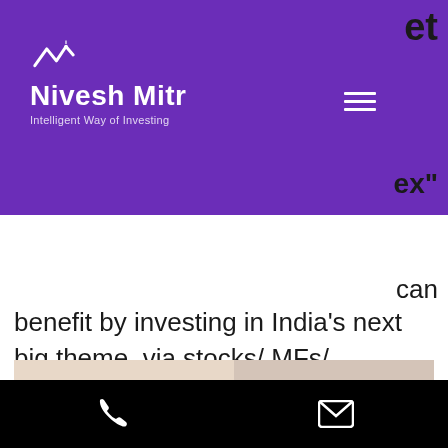Nivesh Mitr — Intelligent Way of Investing
can benefit by investing in India's next big theme, via stocks/ MFs/ Smallcases - Email:...
[Figure (photo): A worker wearing a respirator mask and cap using a spray paint gun on a vehicle panel in an automotive paint shop.]
Phone and email contact icons